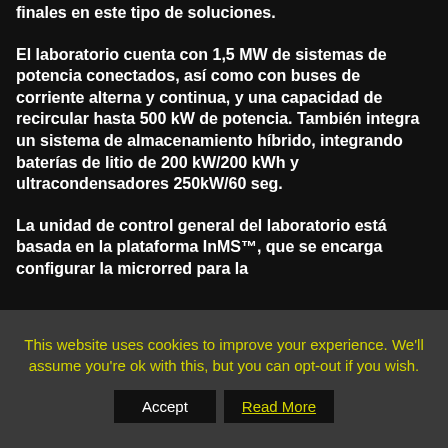finales en este tipo de soluciones.
El laboratorio cuenta con 1,5 MW de sistemas de potencia conectados, así como con buses de corriente alterna y continua, y una capacidad de recircular hasta 500 kW de potencia. También integra un sistema de almacenamiento híbrido, integrando baterías de litio de 200 kW/200 kWh y ultracondensadores 250kW/60 seg.
La unidad de control general del laboratorio está basada en la plataforma InMS™, que se encarga configurar la microrred para la
This website uses cookies to improve your experience. We'll assume you're ok with this, but you can opt-out if you wish.